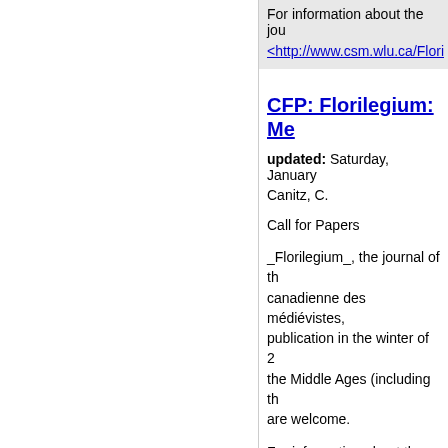For information about the jou
<http://www.csm.wlu.ca/Flori
CFP: Florilegium: Me
updated: Saturday, January
Canitz, C.
Call for Papers
_Florilegium_, the journal of th canadienne des médiévistes, publication in the winter of 2 the Middle Ages (including th are welcome.
For information about the jou
<http://www.csm.wlu.ca/Flori